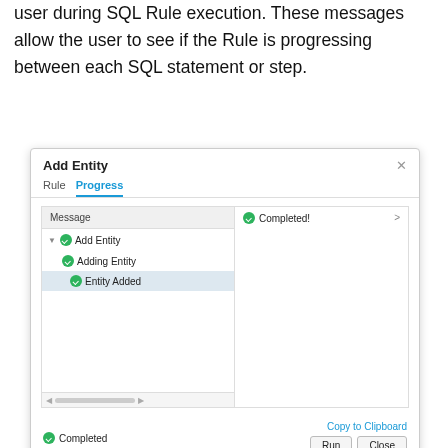user during SQL Rule execution. These messages allow the user to see if the Rule is progressing between each SQL statement or step.
[Figure (screenshot): A dialog box titled 'Add Entity' showing a Progress tab with a message tree listing Add Entity > Adding Entity > Entity Added, all with green check icons. The right pane shows 'Completed!' with a right arrow. The footer shows a green check 'Completed' status, a 'Copy to Clipboard' link, and Run/Close buttons.]